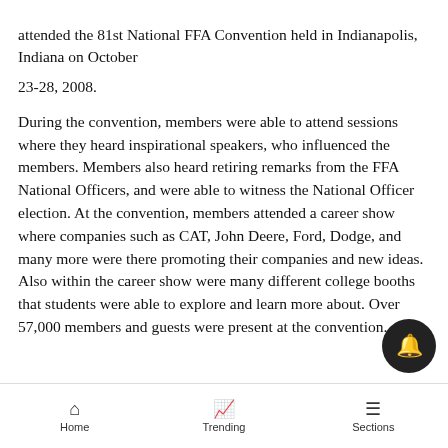attended the 81st National FFA Convention held in Indianapolis, Indiana on October 23-28, 2008.
During the convention, members were able to attend sessions where they heard inspirational speakers, who influenced the members. Members also heard retiring remarks from the FFA National Officers, and were able to witness the National Officer election. At the convention, members attended a career show where companies such as CAT, John Deere, Ford, Dodge, and many more were there promoting their companies and new ideas. Also within the career show were many different college booths that students were able to explore and learn more about. Over 57,000 members and guests were present at the convention.
Home   Trending   Sections